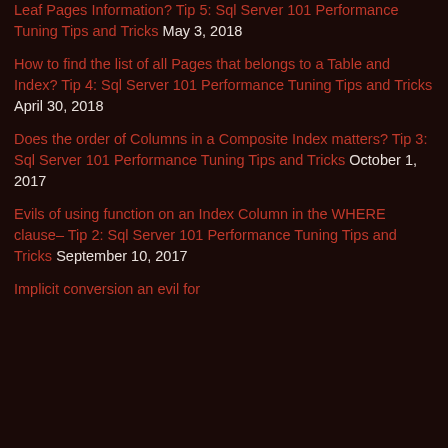Leaf Pages Information? Tip 5: Sql Server 101 Performance Tuning Tips and Tricks May 3, 2018
How to find the list of all Pages that belongs to a Table and Index? Tip 4: Sql Server 101 Performance Tuning Tips and Tricks April 30, 2018
Does the order of Columns in a Composite Index matters? Tip 3: Sql Server 101 Performance Tuning Tips and Tricks October 1, 2017
Evils of using function on an Index Column in the WHERE clause– Tip 2: Sql Server 101 Performance Tuning Tips and Tricks September 10, 2017
Implicit conversion an evil for